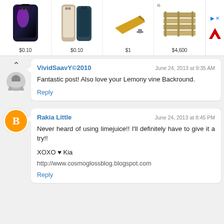[Figure (screenshot): Ad banner showing four products: two iPhone 13 Pro (dark, $0.10), iPhone 12 Pro set (white/teal, $0.10), excavator tooth part ($1), steel rail sections ($4,600), and a red M logo on the right with a blue arrow ad icon.]
VividSaavY©2010
June 24, 2013 at 9:35 AM
Fantastic post! Also love your Lemony vine Backround.
Reply
Rakia Little
June 24, 2013 at 8:45 PM
Never heard of using limejuice!! I'll definitely have to give it a try!!
XOXO ♥ Kia
http://www.cosmoglossblog.blogspot.com
Reply